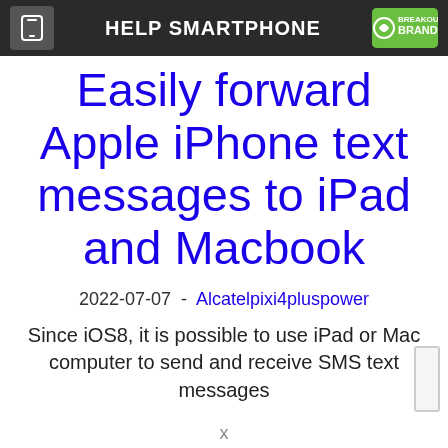HELP SMARTPHONE
Easily forward Apple iPhone text messages to iPad and Macbook
2022-07-07  -  Alcatelpixi4pluspower
Since iOS8, it is possible to use iPad or Mac computer to send and receive SMS text messages